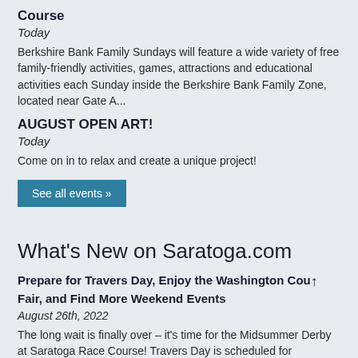Course
Today
Berkshire Bank Family Sundays will feature a wide variety of free family-friendly activities, games, attractions and educational activities each Sunday inside the Berkshire Bank Family Zone, located near Gate A...
AUGUST OPEN ART!
Today
Come on in to relax and create a unique project!
See all events »
What's New on Saratoga.com
Prepare for Travers Day, Enjoy the Washington County Fair, and Find More Weekend Events
August 26th, 2022
The long wait is finally over – it's time for the Midsummer Derby at Saratoga Race Course! Travers Day is scheduled for Saturday, August 27, and it's going to be